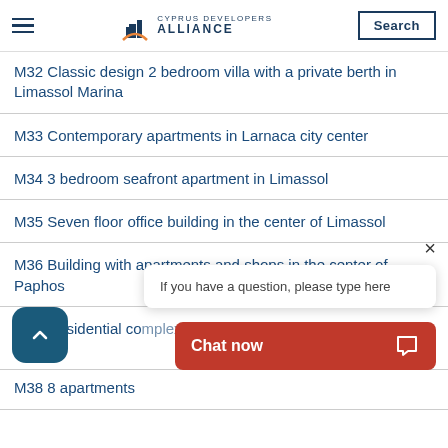Cyprus Developers Alliance — Navigation header with Search button
M32 Classic design 2 bedroom villa with a private berth in Limassol Marina
M33 Contemporary apartments in Larnaca city center
M34 3 bedroom seafront apartment in Limassol
M35 Seven floor office building in the center of Limassol
M36 Building with apartments and shops in the center of Paphos
M37 Residential complex in the heart of Limassol's historic center
M38 8 apartments
If you have a question, please type here
Chat now